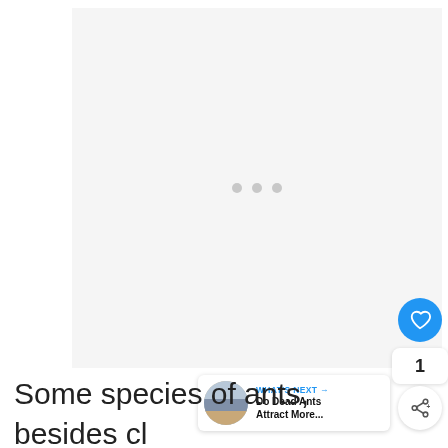[Figure (other): Loading placeholder image area with three grey dots in the center on a light grey background]
[Figure (other): UI overlay: heart/like button (blue circle with heart icon), count badge showing '1', share button (white circle with share icon), and a 'WHAT'S NEXT' card showing 'Do Dead Ants Attract More...' with a thumbnail image]
Some species of ants, besides cl have stingers, which are located on the